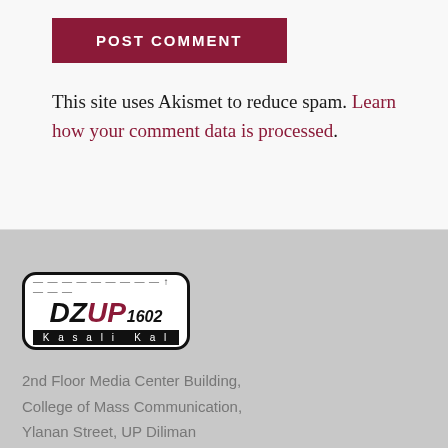POST COMMENT
This site uses Akismet to reduce spam. Learn how your comment data is processed.
[Figure (logo): DZUP 1602 Kasali Kal radio station logo in a rounded rectangle border]
2nd Floor Media Center Building, College of Mass Communication, Ylanan Street, UP Diliman Quezon City, Metro Manila 1101 Philippines